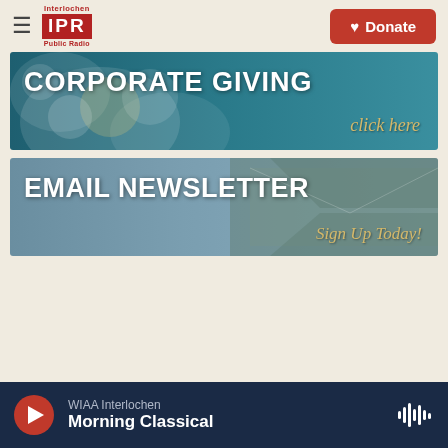Interlochen IPR Public Radio — Donate
[Figure (infographic): Corporate Giving banner with blue teal floral background. White bold text reads 'CORPORATE GIVING' with gold italic text 'click here']
[Figure (infographic): Email Newsletter banner with blue-grey envelope background. White bold text reads 'EMAIL NEWSLETTER' with gold italic text 'Sign Up Today!']
WIAA Interlochen Morning Classical